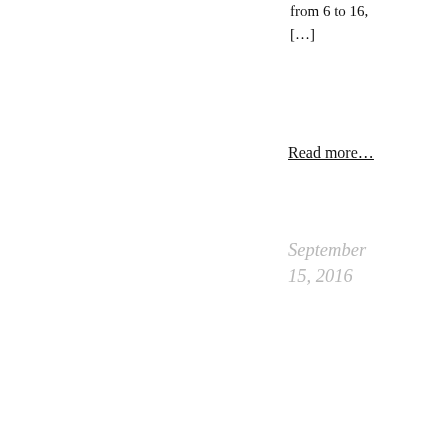from 6 to 16, […]
Read more…
September 15, 2016
[Figure (illustration): Purple flower line art digital drawing — white line drawing of a flower on a dark purple/magenta background]
Purple Flower – Line Art (digital)
Digital art. A simple line drawing from a flower I took a picture of.